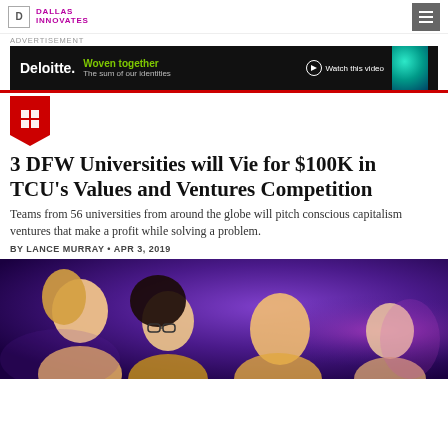DALLAS INNOVATES
ADVERTISEMENT
[Figure (other): Deloitte advertisement banner — 'Woven together / The sum of our identities' with Watch this video button and teal globe graphic]
[Figure (other): Red downward-pointing badge icon with a grid/table symbol]
3 DFW Universities will Vie for $100K in TCU's Values and Ventures Competition
Teams from 56 universities from around the globe will pitch conscious capitalism ventures that make a profit while solving a problem.
BY LANCE MURRAY • APR 3, 2019
[Figure (photo): Photo of students sitting together, appearing to collaborate, with a purple/violet background and lighting]